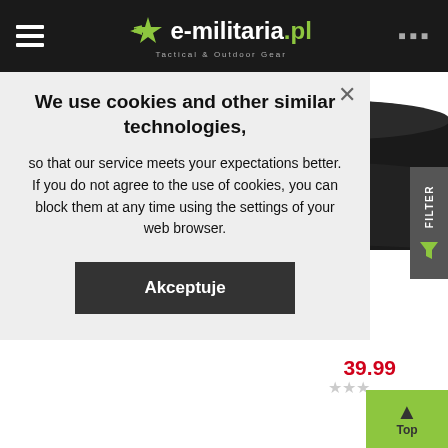e-militaria.pl Tactical & Outdoor Gear
[Figure (screenshot): Product listing page showing a black leather belt on white background]
We use cookies and other similar technologies, so that our service meets your expectations better. If you do not agree to the use of cookies, you can block them at any time using the settings of your web browser.
Akceptuje
39.99
Top